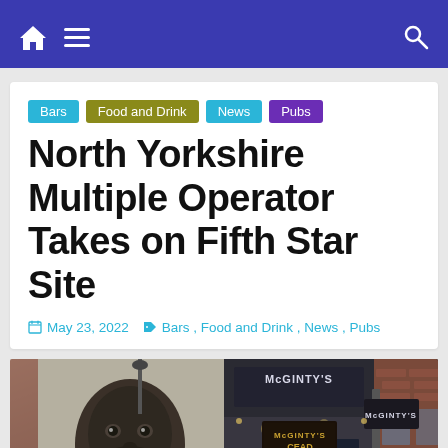Navigation bar with home icon, hamburger menu, and search icon
Bars | Food and Drink | News | Pubs
North Yorkshire Multiple Operator Takes on Fifth Star Site
May 23, 2022  Bars, Food and Drink, News, Pubs
[Figure (photo): Left: large mural painted on exterior wall showing a man's face with beard. Right: exterior of McGinty's pub with signage reading MCGINTY'S CEAD MILE FAILTE and the pub frontage at night/dusk.]